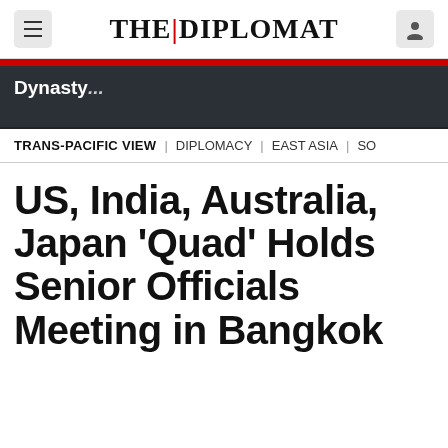THE DIPLOMAT
[Figure (screenshot): Dark banner area with partial text 'Dynasty...' and red stripe at top]
TRANS-PACIFIC VIEW | DIPLOMACY | EAST ASIA | SO
US, India, Australia, Japan 'Quad' Holds Senior Officials Meeting in Bangkok